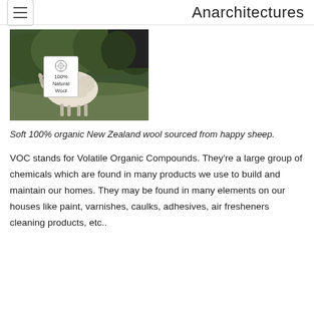Anarchitectures
[Figure (photo): A sheep standing on grass in front of a hedge, with a white badge overlay showing a wool logo and text '100% Natural Wool']
Soft 100% organic New Zealand wool sourced from happy sheep.
VOC stands for Volatile Organic Compounds. They're a large group of chemicals which are found in many products we use to build and maintain our homes. They may be found in many elements on our houses like paint, varnishes, caulks, adhesives, air fresheners cleaning products, etc..